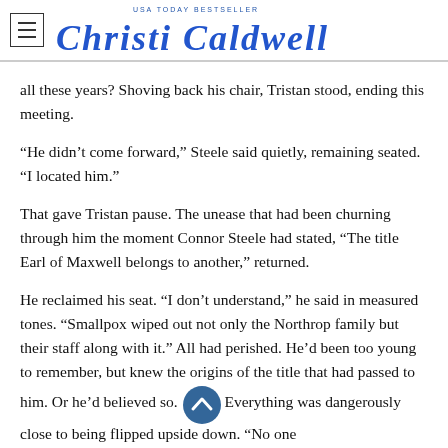Christi Caldwell — USA Today Bestseller
all these years? Shoving back his chair, Tristan stood, ending this meeting.
“He didn’t come forward,” Steele said quietly, remaining seated. “I located him.”
That gave Tristan pause. The unease that had been churning through him the moment Connor Steele had stated, “The title Earl of Maxwell belongs to another,” returned.
He reclaimed his seat. “I don’t understand,” he said in measured tones. “Smallpox wiped out not only the Northrop family but their staff along with it.” All had perished. He’d been too young to remember, but knew the origins of the title that had passed to him. Or he’d believed so. Everything was dangerously close to being flipped upside down. “No one survived.”